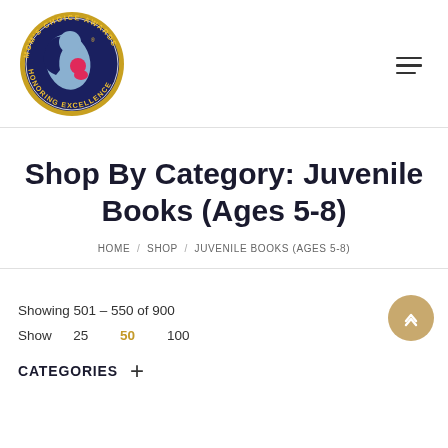[Figure (logo): Mom's Choice Awards circular logo with blue background, gold text reading 'MOM'S CHOICE AWARDS' and 'HONORING EXCELLENCE', featuring a stylized adult and child figure in grey and pink]
Shop By Category: Juvenile Books (Ages 5-8)
HOME / SHOP / JUVENILE BOOKS (AGES 5-8)
Showing 501 – 550 of 900
Show  25  50  100
CATEGORIES +